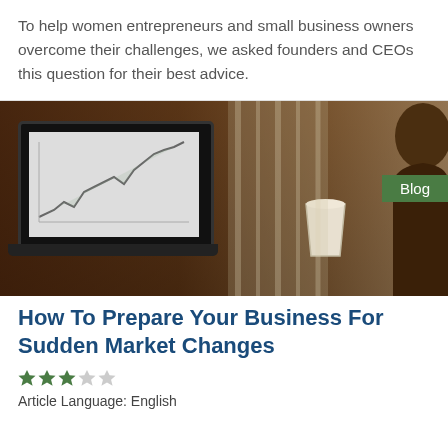To help women entrepreneurs and small business owners overcome their challenges, we asked founders and CEOs this question for their best advice.
[Figure (photo): Person sitting at a dark table looking at a laptop screen showing a line/financial chart, holding a coffee cup. Bokeh background with warm/orange tones.]
Blog
How To Prepare Your Business For Sudden Market Changes
★★★☆☆
Article Language: English